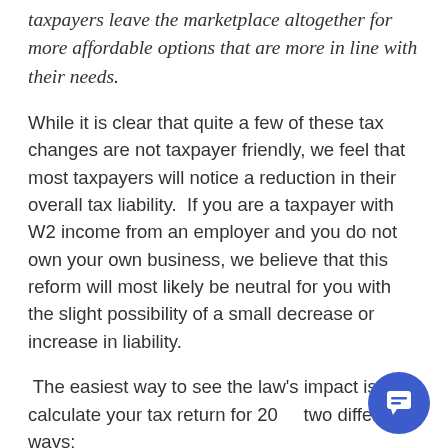taxpayers leave the marketplace altogether for more affordable options that are more in line with their needs.
While it is clear that quite a few of these tax changes are not taxpayer friendly, we feel that most taxpayers will notice a reduction in their overall tax liability.  If you are a taxpayer with W2 income from an employer and you do not own your own business, we believe that this reform will most likely be neutral for you with the slight possibility of a small decrease or increase in liability.
The easiest way to see the law's impact is to calculate your tax return for 20[..] two different ways:
1.  Using the laws from 2017 and